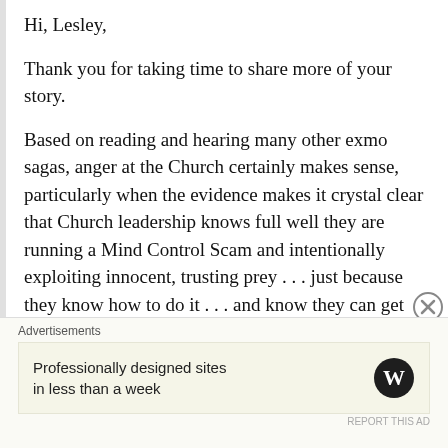Hi, Lesley,
Thank you for taking time to share more of your story.
Based on reading and hearing many other exmo sagas, anger at the Church certainly makes sense, particularly when the evidence makes it crystal clear that Church leadership knows full well they are running a Mind Control Scam and intentionally exploiting innocent, trusting prey . . . just because they know how to do it . . . and know they can get away with it . . . without being prosecuted and imprisoned for their crime against humanity . . . because of the irrational
Advertisements
Professionally designed sites in less than a week